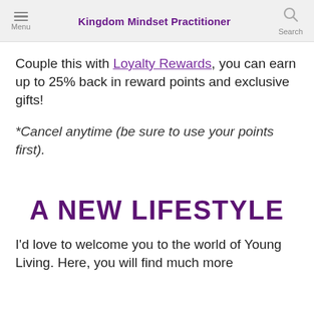Menu | Kingdom Mindset Practitioner | Search
Couple this with Loyalty Rewards, you can earn up to 25% back in reward points and exclusive gifts!
*Cancel anytime (be sure to use your points first).
A NEW LIFESTYLE
I'd love to welcome you to the world of Young Living. Here, you will find much more